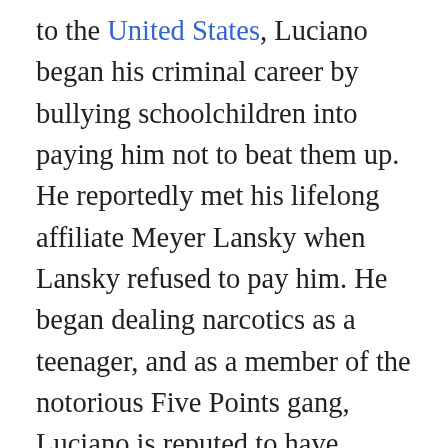to the United States, Luciano began his criminal career by bullying schoolchildren into paying him not to beat them up. He reportedly met his lifelong affiliate Meyer Lansky when Lansky refused to pay him. He began dealing narcotics as a teenager, and as a member of the notorious Five Points gang, Luciano is reputed to have participated in numerous beatings and murders. In addition to gambling and drug peddling, Luciano gained power and wealth during the Prohibition era